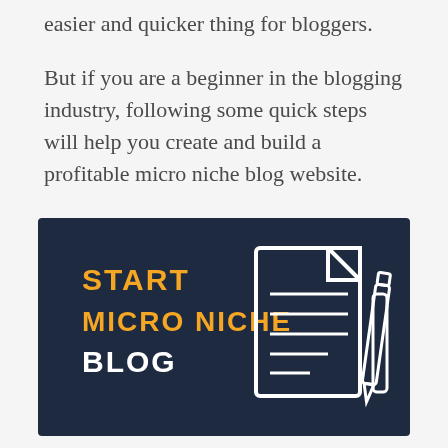easier and quicker thing for bloggers.

But if you are a beginner in the blogging industry, following some quick steps will help you create and build a profitable micro niche blog website.
[Figure (infographic): Dark navy blue banner with yellow bold text 'START MICRO NICHE' and white bold text 'BLOG' on the left, and a line-art icon of a document with lines and a pencil on the right.]